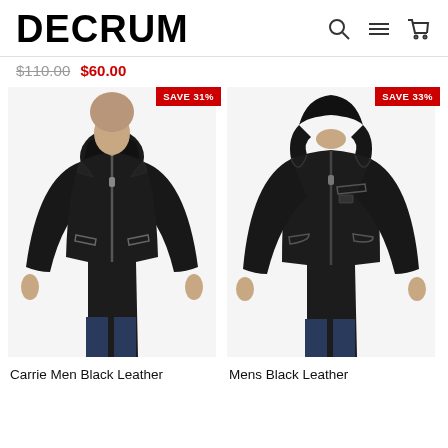DECRUM
$110.00 $60.00
[Figure (photo): Man wearing Carrie Men Black Leather jacket, with SAVE 31% badge]
[Figure (photo): Man wearing Mens Black Leather hooded jacket, with SAVE 33% badge]
Carrie Men Black Leather
Mens Black Leather